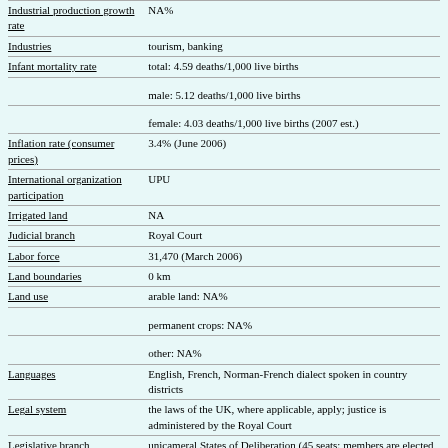| Field | Value |
| --- | --- |
| Industrial production growth rate | NA% |
| Industries | tourism, banking |
| Infant mortality rate | total: 4.59 deaths/1,000 live births |
|  | male: 5.12 deaths/1,000 live births |
|  | female: 4.03 deaths/1,000 live births (2007 est.) |
| Inflation rate (consumer prices) | 3.4% (June 2006) |
| International organization participation | UPU |
| Irrigated land | NA |
| Judicial branch | Royal Court |
| Labor force | 31,470 (March 2006) |
| Land boundaries | 0 km |
| Land use | arable land: NA% |
|  | permanent crops: NA% |
|  | other: NA% |
| Languages | English, French, Norman-French dialect spoken in country districts |
| Legal system | the laws of the UK, where applicable, apply; justice is administered by the Royal Court |
| Legislative branch | unicameral States of Deliberation (45 seats; members are elected by popular vote for four years); note - Alderney and Sark have parliaments |
|  | elections: last held 21 April 2004 (next to be held in 2008) |